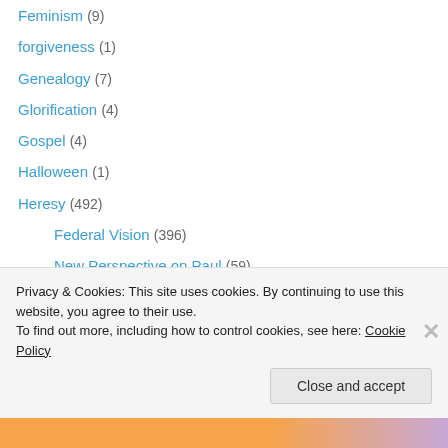Feminism (9)
forgiveness (1)
Genealogy (7)
Glorification (4)
Gospel (4)
Halloween (1)
Heresy (492)
Federal Vision (396)
New Perspective on Paul (59)
Roman Catholicism (74)
Hermeneutics (33)
Historical Theology (35)
Early Church Fathers (10)
Quo Vadis (1)
Privacy & Cookies: This site uses cookies. By continuing to use this website, you agree to their use. To find out more, including how to control cookies, see here: Cookie Policy